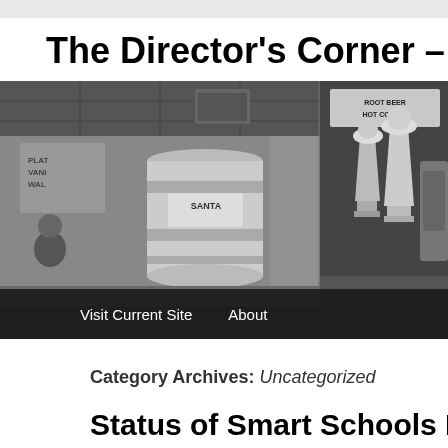The Director's Corner – Archiv
[Figure (photo): Black and white photo of a diner or cafeteria counter with a large cylindrical container (possibly an ice cream or food storage barrel), trophies or metallic dispensers on a counter, signage in the background including 'ROOT BEER HOT COFFEE', and navigation bar overlay with 'Visit Current Site' and 'About' links.]
Category Archives: Uncategorized
Status of Smart Schools Bond Spending